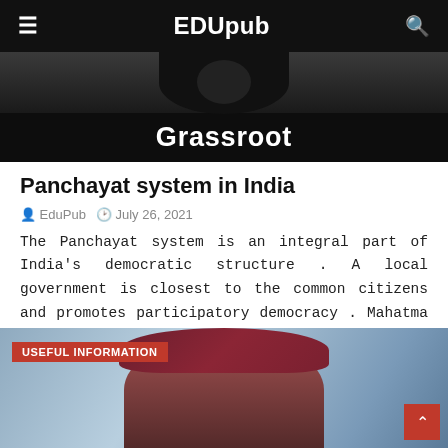EDUpub
[Figure (photo): Dark hero image with silhouette at top and 'Grassroot' text label on black banner]
Panchayat system in India
EduPub  July 26, 2021
The Panchayat system is an integral part of India's democratic structure . A local government is closest to the common citizens and promotes participatory democracy . Mahatma Gandhi believed that I...
[Figure (photo): Photo of elderly woman in dark red hat, with 'USEFUL INFORMATION' red badge overlay and scroll-to-top button]